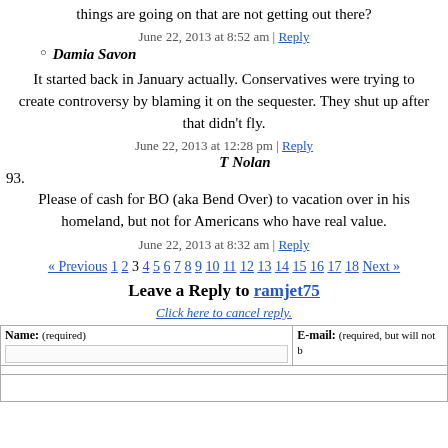things are going on that are not getting out there?
June 22, 2013 at 8:52 am | Reply
Damia Savon
It started back in January actually. Conservatives were trying to create controversy by blaming it on the sequester. They shut up after that didn't fly.
June 22, 2013 at 12:28 pm | Reply
93. T Nolan
Please of cash for BO (aka Bend Over) to vacation over in his homeland, but not for Americans who have real value.
June 22, 2013 at 8:32 am | Reply
« Previous 1 2 3 4 5 6 7 8 9 10 11 12 13 14 15 16 17 18 Next »
Leave a Reply to ramjet75
Click here to cancel reply.
| Name: (required) | E-mail: (required, but will not be published) |
| --- | --- |
|  |  |